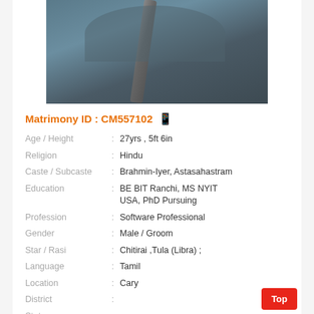[Figure (photo): A man wearing a dark blue t-shirt with a seatbelt across his chest, taking a selfie in a car.]
Matrimony ID : CM557102
| Field | : | Value |
| --- | --- | --- |
| Age / Height | : | 27yrs , 5ft 6in |
| Religion | : | Hindu |
| Caste / Subcaste | : | Brahmin-Iyer, Astasahastram |
| Education | : | BE BIT Ranchi, MS NYIT USA, PhD Pursuing |
| Profession | : | Software Professional |
| Gender | : | Male / Groom |
| Star / Rasi | : | Chitirai ,Tula (Libra) ; |
| Language | : | Tamil |
| Location | : | Cary |
| District | : |  |
| State | : |  |